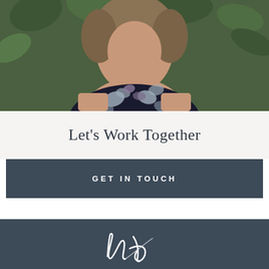[Figure (photo): Photo of a woman wearing a dark floral patterned sleeveless top, photographed outdoors with green foliage background. The image is cropped to show from shoulders upward.]
Let's Work Together
GET IN TOUCH
[Figure (logo): Handwritten script logo showing initials 'hl' in white cursive lettering on a dark navy/slate background.]